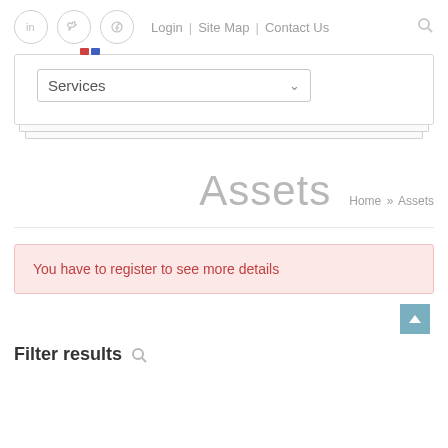Login | Site Map | Contact Us
[Figure (screenshot): Navigation dropdown showing 'Services' with a chevron, with stacked card visual effect below]
Assets
Home » Assets
You have to register to see more details
Filter results